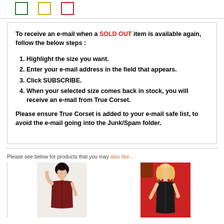[Figure (other): Three colored outline squares: green, yellow, red]
To receive an e-mail when a SOLD OUT item is available again, follow the below steps :
Highlight the size you want.
Enter your e-mail address in the field that appears.
Click SUBSCRIBE.
When your selected size comes back in stock, you will receive an e-mail from True Corset.
Please ensure True Corset is added to your e-mail safe list, to avoid the e-mail going into the Junk/Spam folder.
Please see below for products that you may also like...
[Figure (photo): Woman wearing a dark red corset on white background]
[Figure (photo): Blonde woman wearing a black corset on red background]